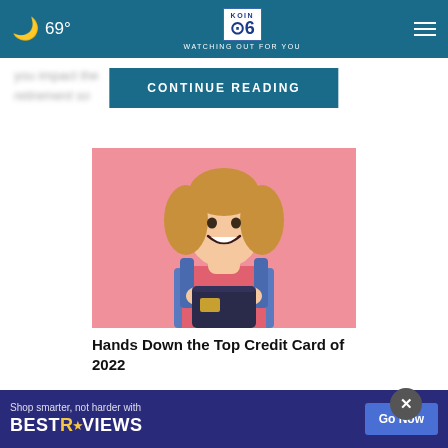69° KOIN 6 — WATCHING OUT FOR YOU
you impact the   see retirement so...    like Rounde
CONTINUE READING
[Figure (photo): Young smiling woman with curly hair holding a credit card against a pink background]
Hands Down the Top Credit Card of 2022
Shop smarter, not harder with BESTREVIEWS — Go Now